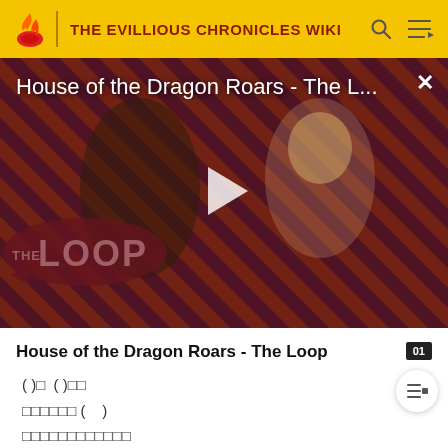THE EVILLIOUS CHRONICLES WIKI
[Figure (screenshot): Video player showing 'House of the Dragon Roars - The L...' with play button overlay, diagonal stripe background in red and dark purple, two characters visible, The Loop badge in lower left, close (X) button top right]
House of the Dragon Roars - The Loop
( ) □  ( ) □□
□□□□□□ (    )
□□□□□□□□□□□□